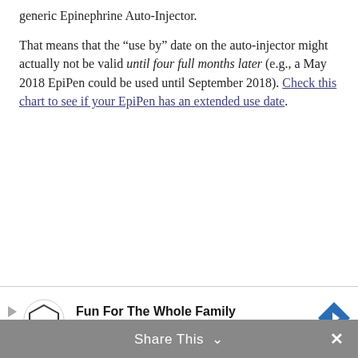generic Epinephrine Auto-Injector.
That means that the “use by” date on the auto-injector might actually not be valid until four full months later (e.g., a May 2018 EpiPen could be used until September 2018). Check this chart to see if your EpiPen has an extended use date.
[Figure (other): Advertisement banner for Topgolf with logo, headline 'Fun For The Whole Family', subtext 'Topgolf', and a blue diamond arrow icon.]
Share This   ∨   ×